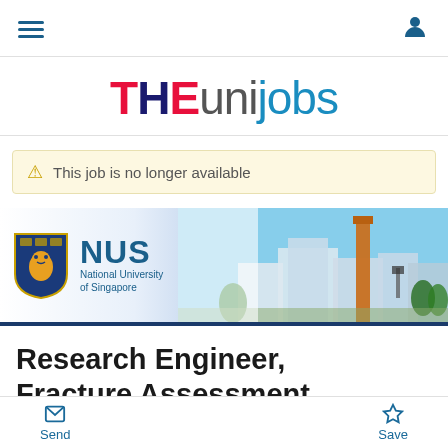[Figure (logo): THEunijobs logo with THE in red/dark blue, unijobs in gray and blue]
This job is no longer available
[Figure (logo): NUS National University of Singapore banner with campus photo background]
Research Engineer, Fracture Assessment